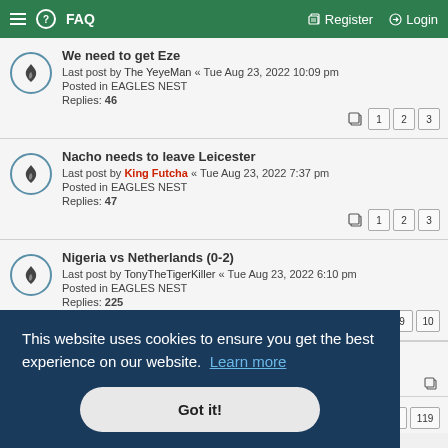≡ ? FAQ   Register   Login
We need to get Eze
Last post by The YeyeMan « Tue Aug 23, 2022 10:09 pm
Posted in EAGLES NEST
Replies: 46
Nacho needs to leave Leicester
Last post by King Futcha « Tue Aug 23, 2022 7:37 pm
Posted in EAGLES NEST
Replies: 47
Nigeria vs Netherlands (0-2)
Last post by TonyTheTigerKiller « Tue Aug 23, 2022 6:10 pm
Posted in EAGLES NEST
Replies: 225
This website uses cookies to ensure you get the best experience on our website. Learn more
Got it!
Replies: 25